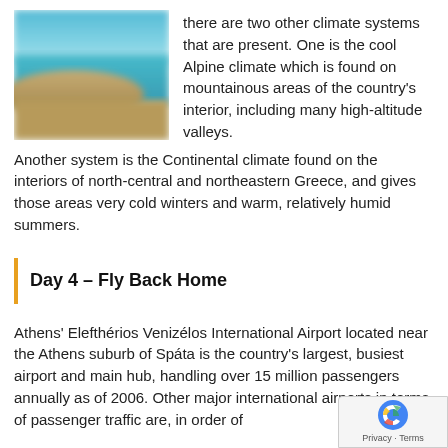[Figure (photo): Blurred coastal landscape photo showing turquoise water and sandy/brown shoreline under a blue sky.]
there are two other climate systems that are present. One is the cool Alpine climate which is found on mountainous areas of the country's interior, including many high-altitude valleys.
Another system is the Continental climate found on the interiors of north-central and northeastern Greece, and gives those areas very cold winters and warm, relatively humid summers.
Day 4 – Fly Back Home
Athens' Elefthérios Venizélos International Airport located near the Athens suburb of Spáta is the country's largest, busiest airport and main hub, handling over 15 million passengers annually as of 2006. Other major international airports in terms of passenger traffic are, in order of